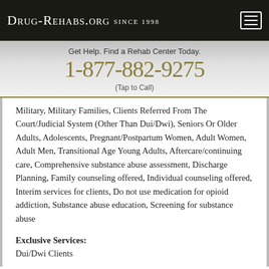Drug-Rehabs.org Since 1998
Get Help. Find a Rehab Center Today.
1-877-882-9275
(Tap to Call)
Military, Military Families, Clients Referred From The Court/Judicial System (Other Than Dui/Dwi), Seniors Or Older Adults, Adolescents, Pregnant/Postpartum Women, Adult Women, Adult Men, Transitional Age Young Adults, Aftercare/continuing care, Comprehensive substance abuse assessment, Discharge Planning, Family counseling offered, Individual counseling offered, Interim services for clients, Do not use medication for opioid addiction, Substance abuse education, Screening for substance abuse
Exclusive Services: Dui/Dwi Clients